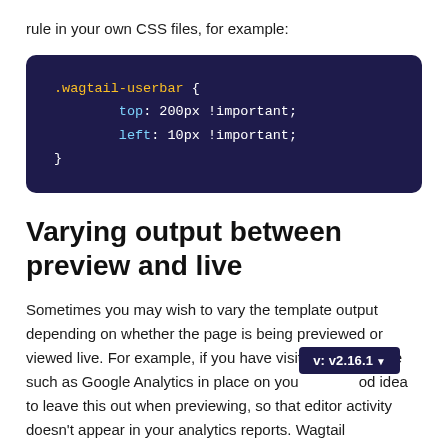rule in your own CSS files, for example:
[Figure (screenshot): Dark blue/indigo code block showing CSS: .wagtail-userbar { top: 200px !important; left: 10px !important; }]
Varying output between preview and live
Sometimes you may wish to vary the template output depending on whether the page is being previewed or viewed live. For example, if you have visit tracking code such as Google Analytics in place on your pages, it's a good idea to leave this out when previewing, so that editor activity doesn't appear in your analytics reports. Wagtail